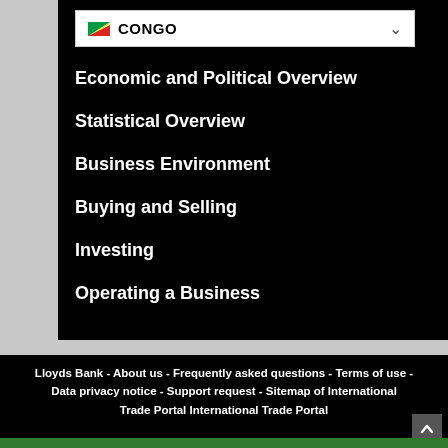[Figure (screenshot): Dropdown selector showing Congo flag and country name with chevron arrow]
Economic and Political Overview
Statistical Overview
Business Environment
Buying and Selling
Investing
Operating a Business
Lloyds Bank - About us - Frequently asked questions - Terms of use - Data privacy notice - Support request - Sitemap of International Trade Portal International Trade Portal